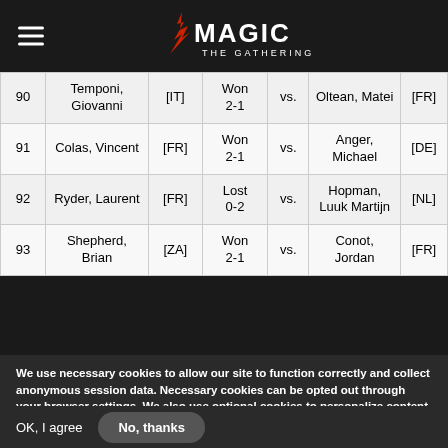Magic: The Gathering
| # | Name | Country | Result | vs. | Opponent | Country |
| --- | --- | --- | --- | --- | --- | --- |
| 90 | Temponi, Giovanni | [IT] | Won 2-1 | vs. | Oltean, Matei | [FR] |
| 91 | Colas, Vincent | [FR] | Won 2-1 | vs. | Anger, Michael | [DE] |
| 92 | Ryder, Laurent | [FR] | Lost 0-2 | vs. | Hopman, Luuk Martijn | [NL] |
| 93 | Shepherd, Brian | [ZA] | Won 2-1 | vs. | Conot, Jordan | [FR] |
We use necessary cookies to allow our site to function correctly and collect anonymous session data. Necessary cookies can be opted out through your browser settings. We also use optional cookies to personalize content and ads, provide social medial features and analyze web traffic. By clicking “OK, I agree,” you consent to optional cookies. (Learn more about cookies.)
OK, I agree
No, thanks